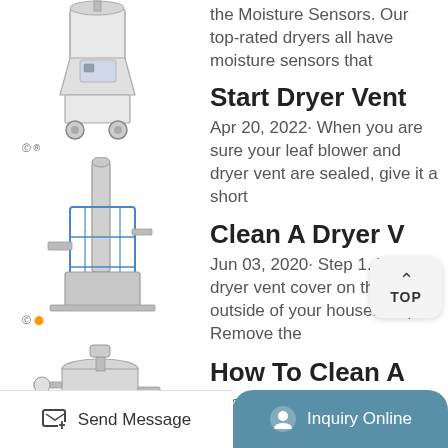[Figure (photo): Industrial spray dryer machine on wheels, stainless steel, with CE mark]
[Figure (photo): Industrial distillation or extraction tower equipment, blue and silver, with CE and orange mark]
[Figure (photo): Stainless steel jacketed reactor vessel with piping and frame]
[Figure (photo): White industrial dryer or autoclave machine]
the Moisture Sensors. Our top-rated dryers all have moisture sensors that
Start Dryer Vent
Apr 20, 2022· When you are sure your leaf blower and dryer vent are sealed, give it a short
Clean A Dryer V
Jun 03, 2020· Step 1. L the dryer vent cover on the outside of your house. Step 2. Remove the
How To Clean A
Sep 18, 2021· Cleaning the vent will likely make a
Send Message    Inquiry Online